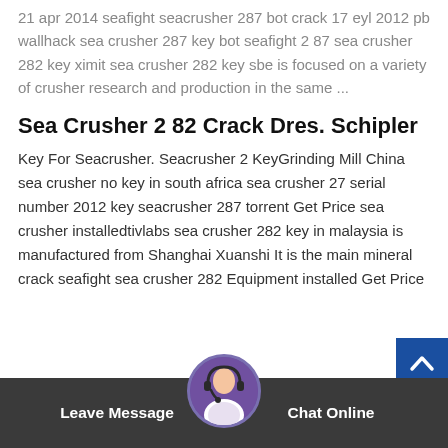21 apr 2014 seafight seacrusher 287 bot crack 17 eyl 2012 pb wallhack sea crusher 287 key bot seafight 2 87 sea crusher 282 key ximit sea crusher 282 key sbe is focused on a variety of crusher research and production in the same ...
Sea Crusher 2 82 Crack Dres. Schipler
Key For Seacrusher. Seacrusher 2 KeyGrinding Mill China sea crusher no key in south africa sea crusher 27 serial number 2012 key seacrusher 287 torrent Get Price sea crusher installedtivlabs sea crusher 282 key in malaysia is manufactured from Shanghai Xuanshi It is the main mineral crack seafight sea crusher 282 Equipment installed Get Price
Leave Message   Chat Online